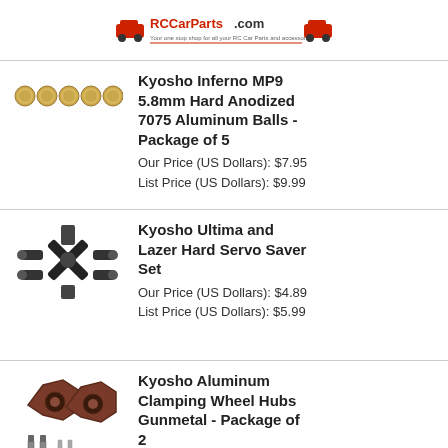RCCarParts.com
[Figure (photo): 5 gold/bronze aluminum balls in a row]
Kyosho Inferno MP9 5.8mm Hard Anodized 7075 Aluminum Balls - Package of 5
Our Price (US Dollars): $7.95
List Price (US Dollars): $9.99
[Figure (photo): Black plastic servo saver set with multiple arms and connectors]
Kyosho Ultima and Lazer Hard Servo Saver Set
Our Price (US Dollars): $4.89
List Price (US Dollars): $5.99
[Figure (photo): Two dark red/maroon hexagonal wheel hubs with screws and pins]
Kyosho Aluminum Clamping Wheel Hubs Gunmetal - Package of 2
Our Price (US Dollars): $13.99
List Price (US Dollars): $17.99
[Figure (photo): Kyosho bumper and wing part, partially visible]
Kyosho Bumper & Wing...